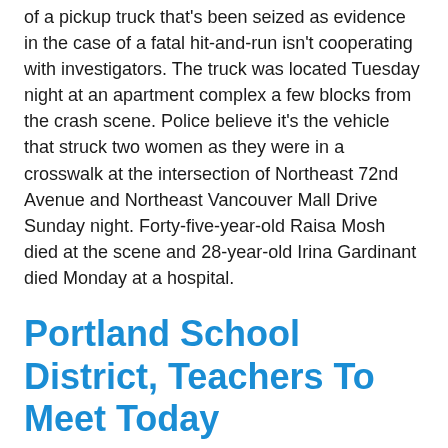of a pickup truck that's been seized as evidence in the case of a fatal hit-and-run isn't cooperating with investigators.  The truck was located Tuesday night at an apartment complex a few blocks from the crash scene.  Police believe it's the vehicle that struck two women as they were in a crosswalk at the intersection of Northeast 72nd Avenue and Northeast Vancouver Mall Drive Sunday night.  Forty-five-year-old Raisa Mosh died at the scene and 28-year-old Irina Gardinant died Monday at a hospital.
Portland School District, Teachers To Meet Today
Posted About Nine Years Ago by Metro Networks, Inc.
(Portland, OR)  --  Portland Public Schools and the Portland Association of Teachers are set to meet today for the first time since January 16th.  The two